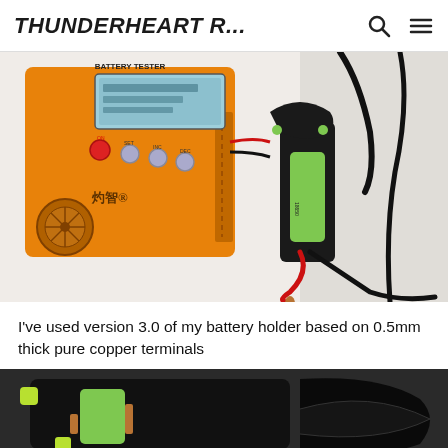THUNDERHEART R...
[Figure (photo): Orange battery tester device with LCD display, red ON button, and gray SET/INC/DEC buttons. Chinese text and brand logo on front. Connected via cables to a green cylindrical 18650 battery held in a black 3D-printed battery holder with red and black alligator clips. White background.]
I've used version 3.0 of my battery holder based on 0.5mm thick pure copper terminals
[Figure (photo): Close-up of a black 3D-printed battery holder with yellow-green accents and a green battery inside, on a dark textured surface. Partial view of holder structure.]